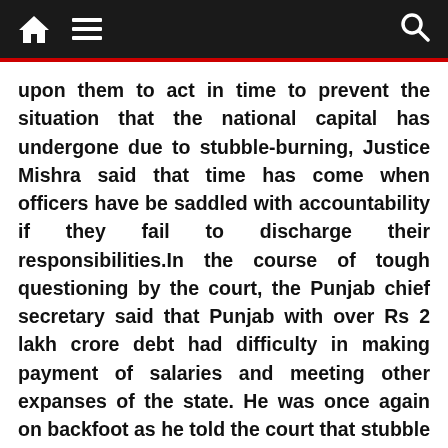[navigation bar with home, menu, and search icons]
upon them to act in time to prevent the situation that the national capital has undergone due to stubble-burning, Justice Mishra said that time has come when officers have be saddled with accountability if they fail to discharge their responsibilities.In the course of tough questioning by the court, the Punjab chief secretary said that Punjab with over Rs 2 lakh crore debt had difficulty in making payment of salaries and meeting other expanses of the state. He was once again on backfoot as he told the court that stubble had a high silica level and thus could not be used as fodder for the cattle.Even before he completed, Justice Mishra said: “So you will allow it to be burnt and let human beings die. Every year it is happening